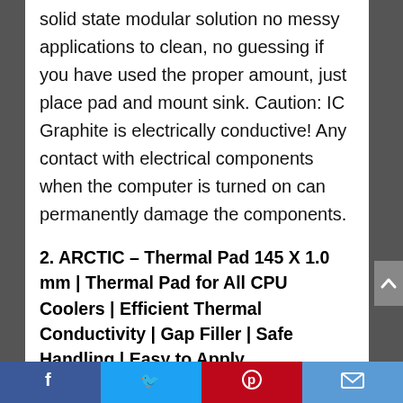solid state modular solution no messy applications to clean, no guessing if you have used the proper amount, just place pad and mount sink. Caution: IC Graphite is electrically conductive! Any contact with electrical components when the computer is turned on can permanently damage the components.
2. ARCTIC – Thermal Pad 145 X 1.0 mm | Thermal Pad for All CPU Coolers | Efficient Thermal Conductivity | Gap Filler | Safe Handling | Easy to Apply
Facebook | Twitter | Pinterest | Email